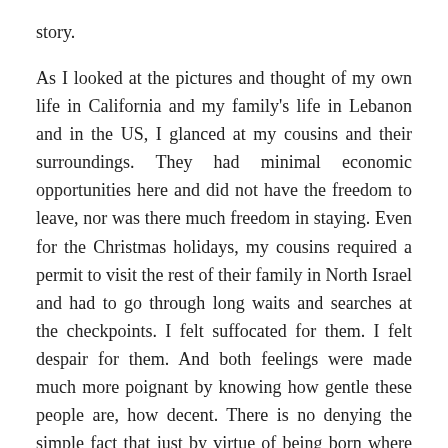story.
As I looked at the pictures and thought of my own life in California and my family's life in Lebanon and in the US, I glanced at my cousins and their surroundings. They had minimal economic opportunities here and did not have the freedom to leave, nor was there much freedom in staying. Even for the Christmas holidays, my cousins required a permit to visit the rest of their family in North Israel and had to go through long waits and searches at the checkpoints. I felt suffocated for them. I felt despair for them. And both feelings were made much more poignant by knowing how gentle these people are, how decent. There is no denying the simple fact that just by virtue of being born where they were, they are living the lives of the stateless in an unforgiving political no man's land with no end of difficulties in